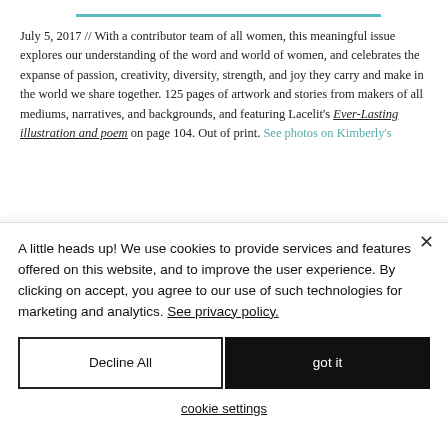July 5, 2017 // With a contributor team of all women, this meaningful issue explores our understanding of the word and world of women, and celebrates the expanse of passion, creativity, diversity, strength, and joy they carry and make in the world we share together. 125 pages of artwork and stories from makers of all mediums, narratives, and backgrounds, and featuring Lacelit's Ever-Lasting illustration and poem on page 104. Out of print. See photos on Kimberly's
A little heads up! We use cookies to provide services and features offered on this website, and to improve the user experience. By clicking on accept, you agree to our use of such technologies for marketing and analytics. See privacy policy.
Decline All
got it
cookie settings